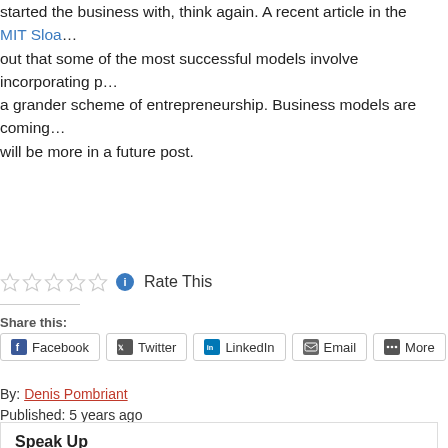started the business with, think again. A recent article in the MIT Sloa out that some of the most successful models involve incorporating p a grander scheme of entrepreneurship. Business models are coming will be more in a future post.
Rate This
Share this:
Facebook  Twitter  LinkedIn  Email  More
By: Denis Pombriant
Published: 5 years ago
Speak Up